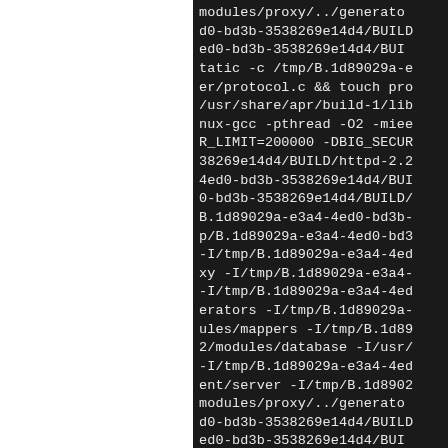[Figure (screenshot): Terminal/console output showing a build command for Apache httpd with compiler flags, include paths, and build directory references (UUIDs like 1d89029a-e3a4-4ed0-bd3b-3538269e14d4). Black background with white monospace text, left half of screen is white/blank.]